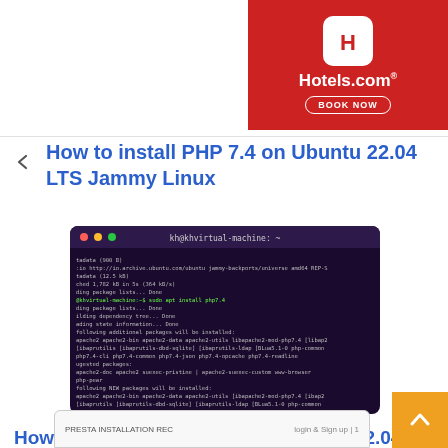[Figure (logo): Hotels.com advertisement banner with red background, white Hotels.com logo icon, brand name, and BOOK NOW button]
How to install PHP 7.4 on Ubuntu 22.04 LTS Jammy Linux
[Figure (screenshot): Terminal screenshot showing apt install php7.4 command output on Ubuntu, with package installation details and confirmation prompt]
How to install PrestaShop on Ubuntu 22.04 Server
[Figure (screenshot): Partial screenshot of a web interface, likely PrestaShop installer or admin panel]